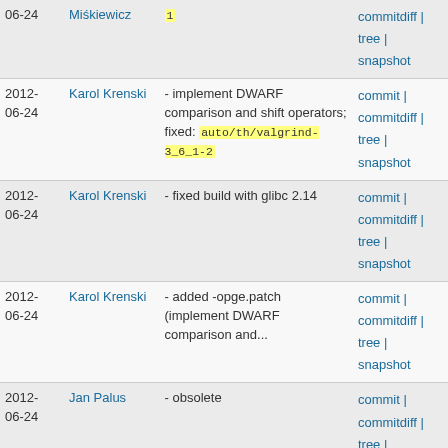| Date | Author | Message | Links |
| --- | --- | --- | --- |
| 2012-06-24 | Miśkiewicz | 1 | commitdiff | tree | snapshot |
| 2012-06-24 | Karol Krenski | - implement DWARF comparison and shift operators; fixed: auto/th/valgrind-3_6_1-2 | commit | commitdiff | tree | snapshot |
| 2012-06-24 | Karol Krenski | - fixed build with glibc 2.14 | commit | commitdiff | tree | snapshot |
| 2012-06-24 | Karol Krenski | - added -opge.patch (implement DWARF comparison and... | commit | commitdiff | tree | snapshot |
| 2012-06-24 | Jan Palus | - obsolete | commit | commitdiff | tree | snapshot |
| 2012-06-24 | Jan Palus | - up to 3.6.1  auto/th/valgrind-3_6_1-1 | commit | commitdiff | |